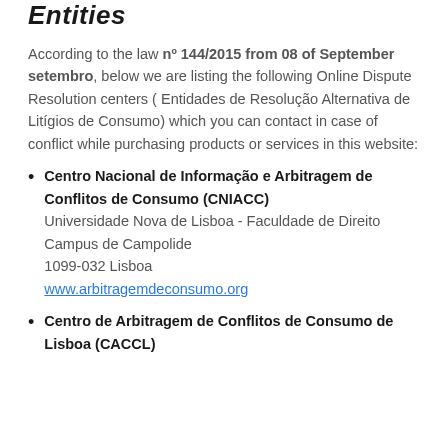Entitles
According to the law nº 144/2015 from 08 of September setembro, below we are listing the following Online Dispute Resolution centers ( Entidades de Resolução Alternativa de Litígios de Consumo) which you can contact in case of conflict while purchasing products or services in this website:
Centro Nacional de Informação e Arbitragem de Conflitos de Consumo (CNIACC)
Universidade Nova de Lisboa - Faculdade de Direito
Campus de Campolide
1099-032 Lisboa
www.arbitragemdeconsumo.org
Centro de Arbitragem de Conflitos de Consumo de Lisboa (CACCL)